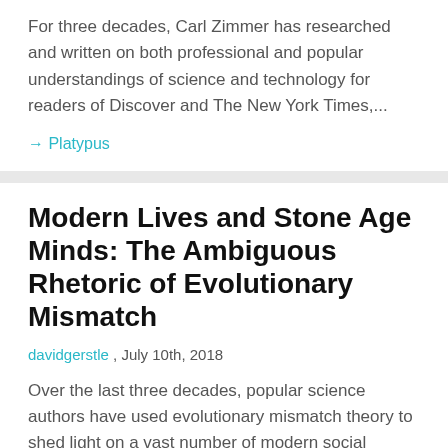For three decades, Carl Zimmer has researched and written on both professional and popular understandings of science and technology for readers of Discover and The New York Times,...
→ Platypus
Modern Lives and Stone Age Minds: The Ambiguous Rhetoric of Evolutionary Mismatch
davidgerstle , July 10th, 2018
Over the last three decades, popular science authors have used evolutionary mismatch theory to shed light on a vast number of modern social problems, pointing to differences between...